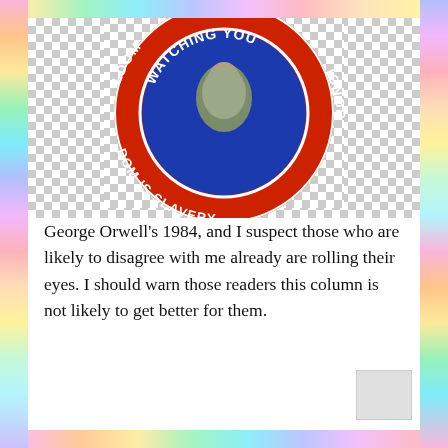[Figure (illustration): Circular badge/button styled like George Orwell's 1984 imagery. Blue inner circle with text 'WATCHING YOU' and a portrait figure. Red outer ring with text 'DOM IS SLAVERY' on the left and 'IGNOR' on the right. Checkerboard transparent background behind the badge.]
George Orwell's 1984, and I suspect those who are likely to disagree with me already are rolling their eyes. I should warn those readers this column is not likely to get better for them.